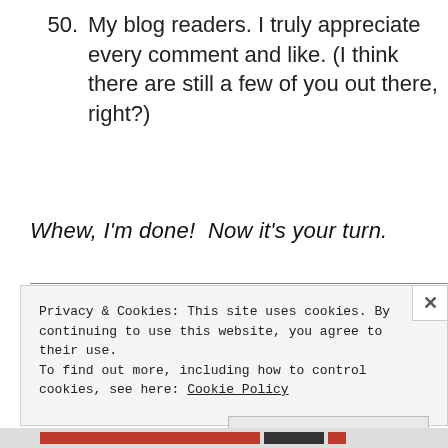50. My blog readers. I truly appreciate every comment and like. (I think there are still a few of you out there, right?)
Whew, I'm done!  Now it's your turn.
Privacy & Cookies: This site uses cookies. By continuing to use this website, you agree to their use.
To find out more, including how to control cookies, see here: Cookie Policy
Close and accept